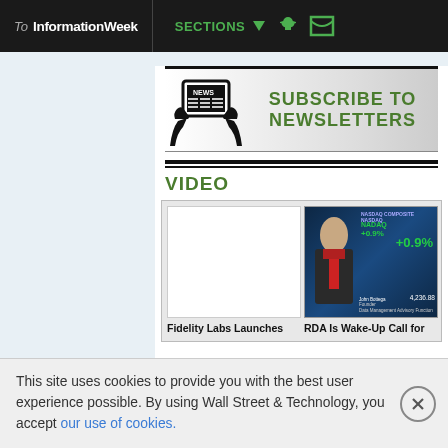To InformationWeek | SECTIONS
[Figure (screenshot): Subscribe to Newsletters banner with news icon showing hands holding a tablet with NEWS text, and green text saying SUBSCRIBE TO NEWSLETTERS]
VIDEO
[Figure (screenshot): Two video thumbnails side by side. Left is blank/white. Right shows a man in a suit with NASDAQ composite +0.9% display and John Bottega Data Management Advisory Function label.]
Fidelity Labs Launches | RDA Is Wake-Up Call for
This site uses cookies to provide you with the best user experience possible. By using Wall Street & Technology, you accept our use of cookies.